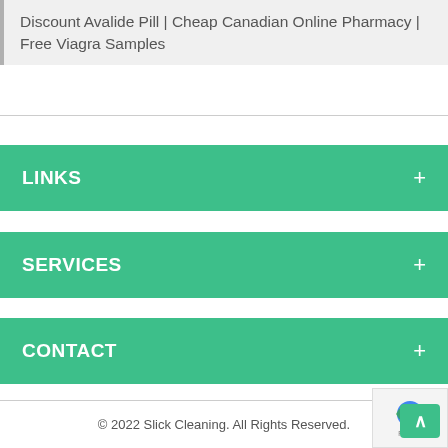Discount Avalide Pill | Cheap Canadian Online Pharmacy | Free Viagra Samples
LINKS
SERVICES
CONTACT
© 2022 Slick Cleaning. All Rights Reserved.